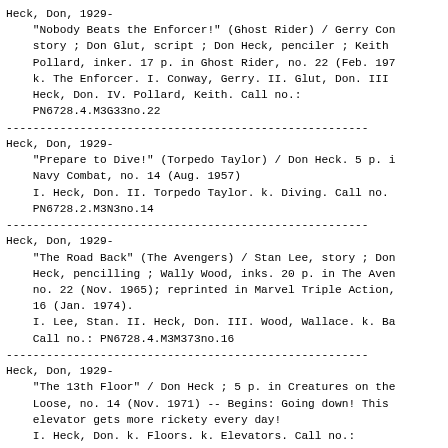Heck, Don, 1929-
    "Nobody Beats the Enforcer!" (Ghost Rider) / Gerry Con
    story ; Don Glut, script ; Don Heck, penciler ; Keith
    Pollard, inker. 17 p. in Ghost Rider, no. 22 (Feb. 197
    k. The Enforcer. I. Conway, Gerry. II. Glut, Don. III
    Heck, Don. IV. Pollard, Keith. Call no.:
    PN6728.4.M3G33no.22
Heck, Don, 1929-
    "Prepare to Dive!" (Torpedo Taylor) / Don Heck. 5 p. i
    Navy Combat, no. 14 (Aug. 1957)
    I. Heck, Don. II. Torpedo Taylor. k. Diving. Call no.
    PN6728.2.M3N3no.14
Heck, Don, 1929-
    "The Road Back" (The Avengers) / Stan Lee, story ; Don
    Heck, pencilling ; Wally Wood, inks. 20 p. in The Aven
    no. 22 (Nov. 1965); reprinted in Marvel Triple Action,
    16 (Jan. 1974).
    I. Lee, Stan. II. Heck, Don. III. Wood, Wallace. k. Ba
    Call no.: PN6728.4.M3M373no.16
Heck, Don, 1929-
    "The 13th Floor" / Don Heck ; 5 p. in Creatures on the
    Loose, no. 14 (Nov. 1971) -- Begins: Going down! This
    elevator gets more rickety every day!
    I. Heck, Don. k. Floors. k. Elevators. Call no.:
    PN6728.3.M3T6no.14
Heck, Don, 1929-